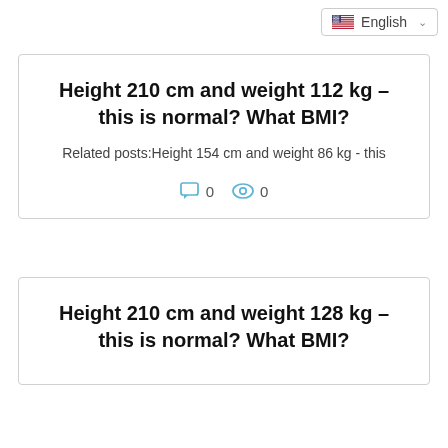English
Height 210 cm and weight 112 kg – this is normal? What BMI?
Related posts:Height 154 cm and weight 86 kg - this
0  0
Height 210 cm and weight 128 kg – this is normal? What BMI?